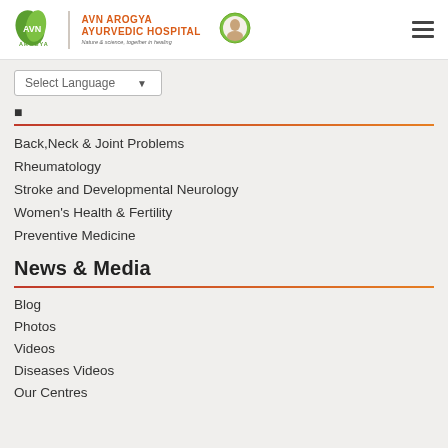AVN Arogya Ayurvedic Hospital - Nature & science, together in healing
[Figure (logo): AVN Arogya logo with green leaf icon, orange text, and a circular portrait badge]
Select Language
Back,Neck & Joint Problems
Rheumatology
Stroke and Developmental Neurology
Women's Health & Fertility
Preventive Medicine
News & Media
Blog
Photos
Videos
Diseases Videos
Our Centres